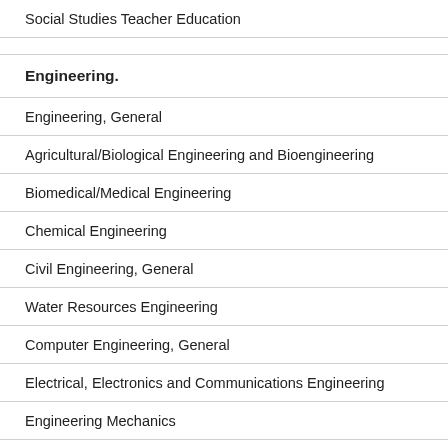Social Studies Teacher Education
Engineering.
Engineering, General
Agricultural/Biological Engineering and Bioengineering
Biomedical/Medical Engineering
Chemical Engineering
Civil Engineering, General
Water Resources Engineering
Computer Engineering, General
Electrical, Electronics and Communications Engineering
Engineering Mechanics
Engineering Physics